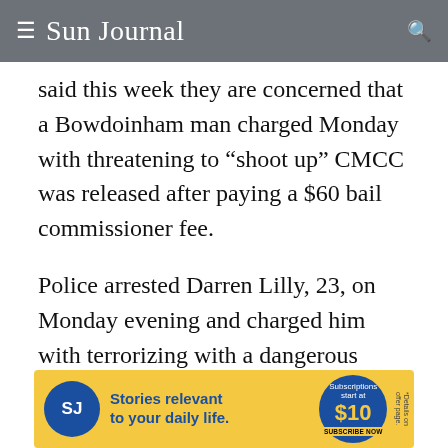≡ Sun Journal 🔍
said this week they are concerned that a Bowdoinham man charged Monday with threatening to “shoot up” CMCC was released after paying a $60 bail commissioner fee.
Police arrested Darren Lilly, 23, on Monday evening and charged him with terrorizing with a dangerous weapon, a felony punishable by up to five years incarceration and a $5,000 fine.
Lilly was granted $1,000 unsecured bond,
[Figure (other): Advertisement banner for Sun Journal subscriptions. Blue circle with 'SJ' logo, text 'Stories relevant to your daily life.', blue circle with 'Subscriptions start at $10 SUBSCRIBE NOW'.]